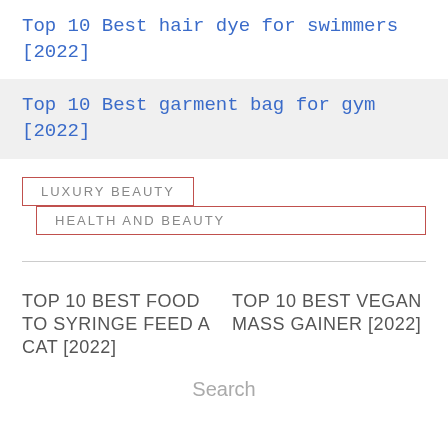Top 10 Best hair dye for swimmers [2022]
Top 10 Best garment bag for gym [2022]
LUXURY BEAUTY
HEALTH AND BEAUTY
TOP 10 BEST FOOD TO SYRINGE FEED A CAT [2022]
TOP 10 BEST VEGAN MASS GAINER [2022]
Search